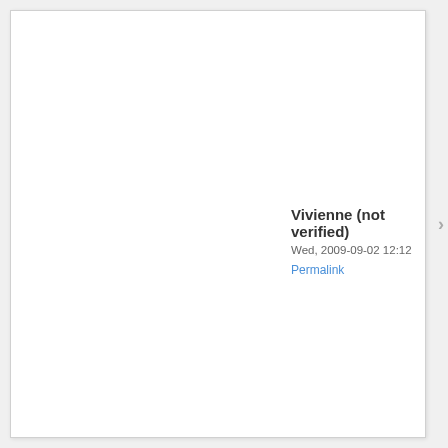Vivienne (not verified)
Wed, 2009-09-02 12:12
Permalink